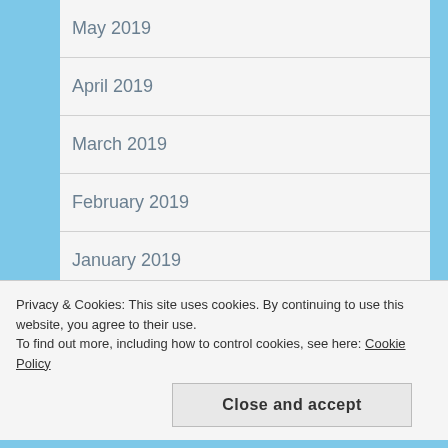May 2019
April 2019
March 2019
February 2019
January 2019
December 2018
November 2018
Privacy & Cookies: This site uses cookies. By continuing to use this website, you agree to their use.
To find out more, including how to control cookies, see here: Cookie Policy
Close and accept